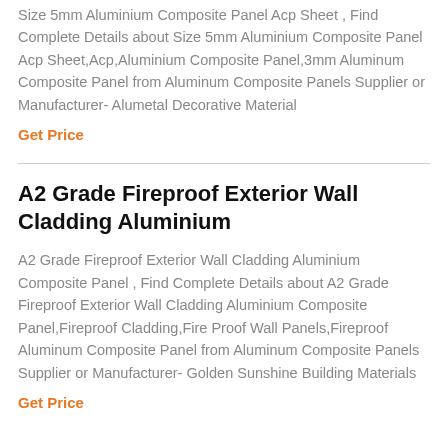Size 5mm Aluminium Composite Panel Acp Sheet , Find Complete Details about Size 5mm Aluminium Composite Panel Acp Sheet,Acp,Aluminium Composite Panel,3mm Aluminum Composite Panel from Aluminum Composite Panels Supplier or Manufacturer- Alumetal Decorative Material
Get Price
A2 Grade Fireproof Exterior Wall Cladding Aluminium
A2 Grade Fireproof Exterior Wall Cladding Aluminium Composite Panel , Find Complete Details about A2 Grade Fireproof Exterior Wall Cladding Aluminium Composite Panel,Fireproof Cladding,Fire Proof Wall Panels,Fireproof Aluminum Composite Panel from Aluminum Composite Panels Supplier or Manufacturer- Golden Sunshine Building Materials
Get Price